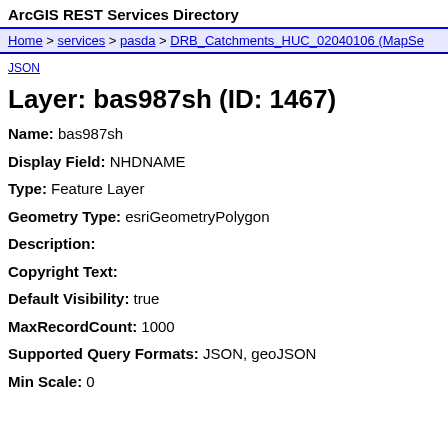ArcGIS REST Services Directory
Home > services > pasda > DRB_Catchments_HUC_02040106 (MapSe
JSON
Layer: bas987sh (ID: 1467)
Name: bas987sh
Display Field: NHDNAME
Type: Feature Layer
Geometry Type: esriGeometryPolygon
Description:
Copyright Text:
Default Visibility: true
MaxRecordCount: 1000
Supported Query Formats: JSON, geoJSON
Min Scale: 0